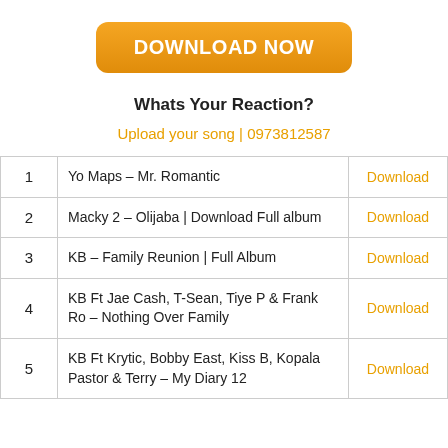[Figure (other): Orange rounded button with white bold text reading DOWNLOAD NOW]
Whats Your Reaction?
Upload your song | 0973812587
| # | Title | Action |
| --- | --- | --- |
| 1 | Yo Maps – Mr. Romantic | Download |
| 2 | Macky 2 – Olijaba | Download Full album | Download |
| 3 | KB – Family Reunion | Full Album | Download |
| 4 | KB Ft Jae Cash, T-Sean, Tiye P & Frank Ro – Nothing Over Family | Download |
| 5 | KB Ft Krytic, Bobby East, Kiss B, Kopala Pastor & Terry – My Diary 12 | Download |